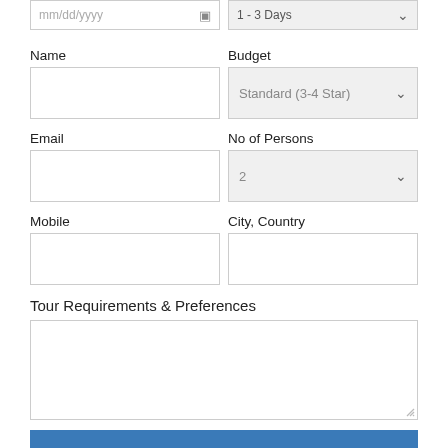mm/dd/yyyy
1 - 3 Days
Name
Budget
Standard (3-4 Star)
Email
No of Persons
2
Mobile
City, Country
Tour Requirements & Preferences
Get Tour Quote